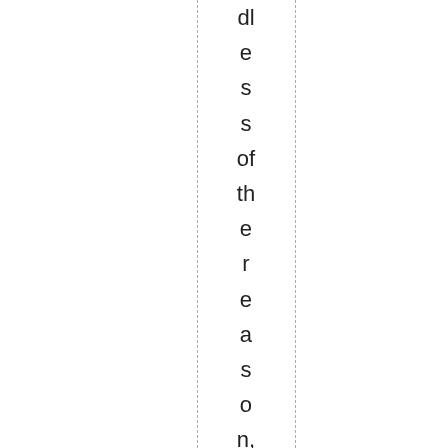dles of the reason, the lawsuit didn't g